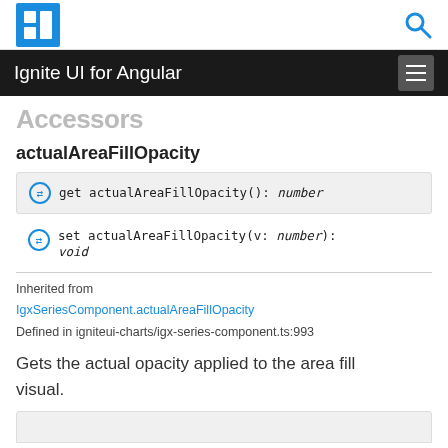Ignite UI for Angular
Accessors
actualAreaFillOpacity
get actualAreaFillOpacity(): number
set actualAreaFillOpacity(v: number): void
Inherited from IgxSeriesComponent.actualAreaFillOpacity
Defined in igniteui-charts/igx-series-component.ts:993
Gets the actual opacity applied to the area fill visual.